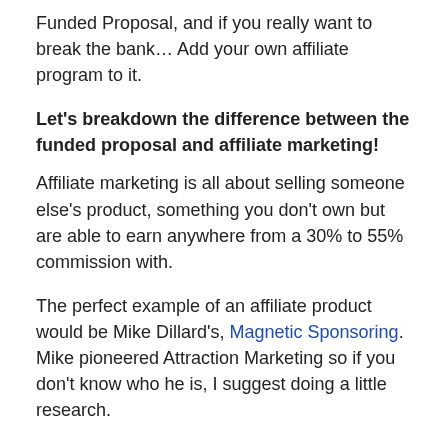Funded Proposal, and if you really want to break the bank… Add your own affiliate program to it.
Let's breakdown the difference between the funded proposal and affiliate marketing!
Affiliate marketing is all about selling someone else's product, something you don't own but are able to earn anywhere from a 30% to 55% commission with.
The perfect example of an affiliate product would be Mike Dillard's, Magnetic Sponsoring. Mike pioneered Attraction Marketing so if you don't know who he is, I suggest doing a little research.